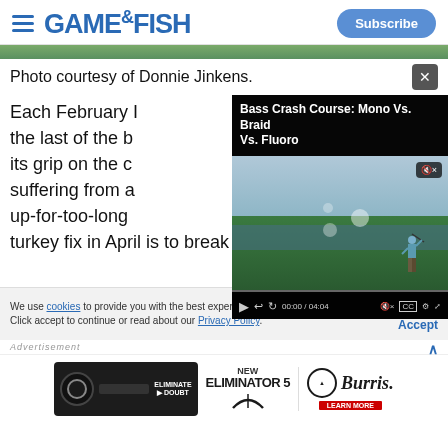Game & Fish — Subscribe
[Figure (photo): Partial photo strip at top of page (green outdoor scene)]
Photo courtesy of Donnie Jinkens.
[Figure (screenshot): Embedded video player overlay: 'Bass Crash Course: Mono Vs. Braid Vs. Fluoro' — fishing video thumbnail showing angler on boat, with playback controls showing 00:00 / 04:04]
Each February I [text obscured by video] the last of the b[text obscured] its grip on the c[text obscured] suffering from a[text obscured] up-for-too-long[text obscured] turkey fix in April is to break out my ultralight tackle
We use cookies to provide you with the best experience in Outdoors programming. Click accept to continue or read about our Privacy Policy.
Advertisement
[Figure (photo): Advertisement banner for Burris Eliminator 5 scope — showing rifle scope product, NEW ELIMINATOR 5 text, and Burris logo with LEARN MORE button]